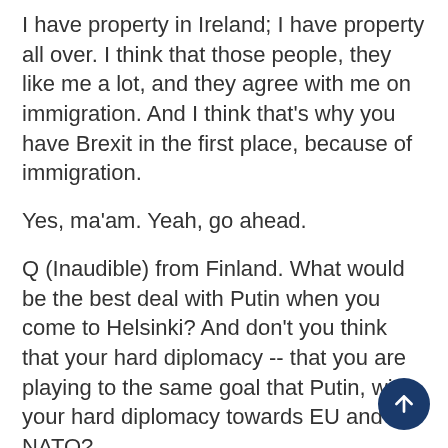I have property in Ireland; I have property all over. I think that those people, they like me a lot, and they agree with me on immigration. And I think that's why you have Brexit in the first place, because of immigration.
Yes, ma'am. Yeah, go ahead.
Q (Inaudible) from Finland. What would be the best deal with Putin when you come to Helsinki? And don't you think that your hard diplomacy -- that you are playing to the same goal that Putin, with your hard diplomacy towards EU and NATO?
THE PRESIDENT: Well, I can't tell you what would be the ultimate. What would be the ultimate? Well, let's see: No more nuclear weapons anywhere in the world would be the ultimate, okay? No more wars, no more problems, no more conflict. Let's find a cure to every